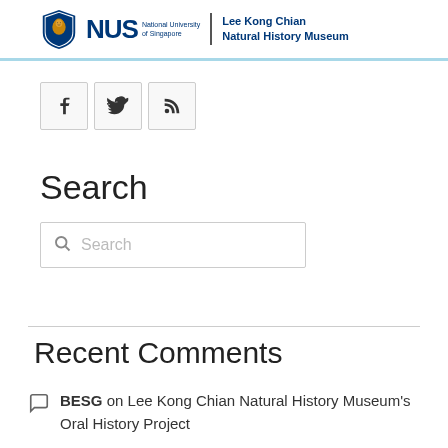[Figure (logo): NUS Lee Kong Chian Natural History Museum logo with lion shield and text]
[Figure (infographic): Social media icons: Facebook, Twitter, RSS feed]
Search
[Figure (screenshot): Search input box with magnifying glass icon and placeholder text 'Search']
Recent Comments
BESG on Lee Kong Chian Natural History Museum's Oral History Project